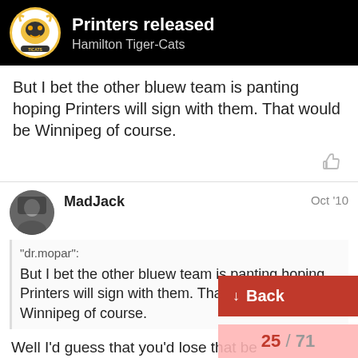Printers released | Hamilton Tiger-Cats
But I bet the other bluew team is panting hoping Printers will sign with them. That would be Winnipeg of course.
MadJack   Oct '10
"dr.mopar": But I bet the other bluew team is panting hoping Printers will sign with them. That would be Winnipeg of course.
Well I'd guess that you'd lose that be...